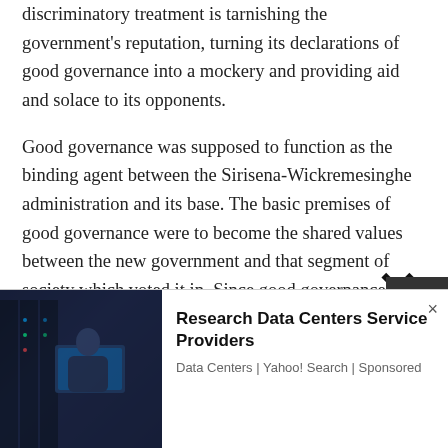discriminatory treatment is tarnishing the government's reputation, turning its declarations of good governance into a mockery and providing aid and solace to its opponents.
Good governance was supposed to function as the binding agent between the Sirisena-Wickremesinghe administration and its base. The basic premises of good governance were to become the shared values between the new government and that segment of society which voted it in. Since good governance was depicted and seen as the dividing line betwe…
[Figure (photo): Photo of a person working at computer monitors in a data center environment, dark blue tones]
Research Data Centers Service Providers
Data Centers | Yahoo! Search | Sponsored